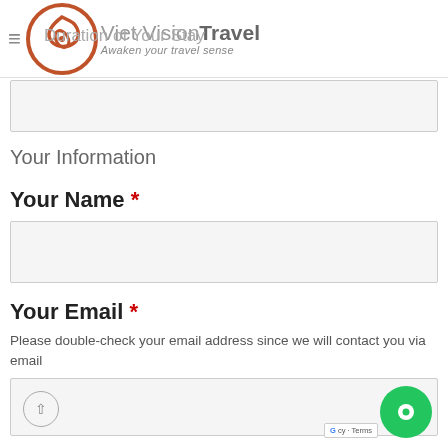Viet Vision Travel — Awaken your travel sense
Duration of Your Stay
Your Information
Your Name *
Your Email *
Please double-check your email address since we will contact you via email